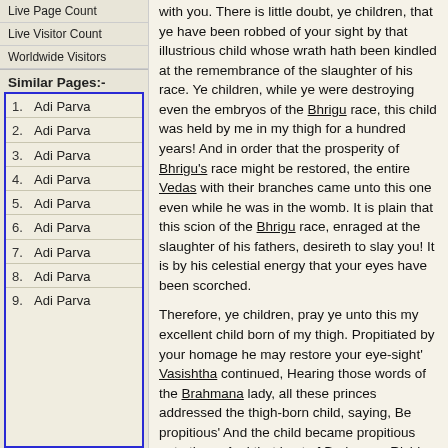Live Page Count
Live Visitor Count
Worldwide Visitors
Similar Pages:-
1. Adi Parva
2. Adi Parva
3. Adi Parva
4. Adi Parva
5. Adi Parva
6. Adi Parva
7. Adi Parva
8. Adi Parva
9. Adi Parva
with you. There is little doubt, ye children, that ye have been robbed of your sight by that illustrious child whose wrath hath been kindled at the remembrance of the slaughter of his race. Ye children, while ye were destroying even the embryos of the Bhrigu race, this child was held by me in my thigh for a hundred years! And in order that the prosperity of Bhrigu's race might be restored, the entire Vedas with their branches came unto this one even while he was in the womb. It is plain that this scion of the Bhrigu race, enraged at the slaughter of his fathers, desireth to slay you! It is by his celestial energy that your eyes have been scorched.
Therefore, ye children, pray ye unto this my excellent child born of my thigh. Propitiated by your homage he may restore your eye-sight' Vasishtha continued, Hearing those words of the Brahmana lady, all these princes addressed the thigh-born child, saying, Be propitious' And the child became propitious unto them. And that best of Brahmana Rishis, in consequence of his having been born after tearing open his mother's thigh, came to be known throughout the three worlds by the name of Aurva thigh-born. And those princes regaining their eye-sight went away. But the Muni Aurva of the Bhrigu race resolved upon overcoming the whole world. And the high-souled Rishi set his heart, O child, upon the destruction of every creature in the world. And that scion of the Bhrigu race, for paying homage as he regarded unto his slaughtered